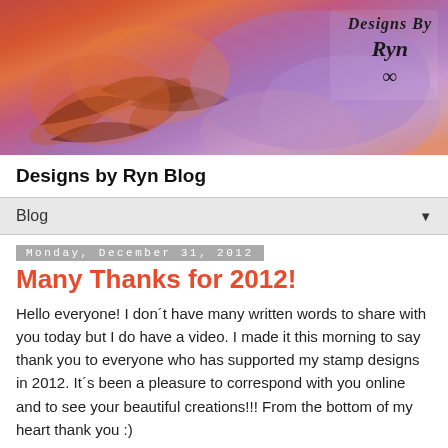[Figure (illustration): Blog header banner with colorful watercolor-style artwork featuring orange and purple leaf/fern patterns, warm and cool tones blended together. A logo in the upper right reads 'Designs By Ryn' in stylized handwriting.]
Designs by Ryn Blog
Blog ▼
Monday, December 31, 2012
Many Thanks for 2012!
Hello everyone! I don´t have many written words to share with you today but I do have a video. I made it this morning to say thank you to everyone who has supported my stamp designs in 2012. It´s been a pleasure to correspond with you online and to see your beautiful creations!!! From the bottom of my heart thank you :)